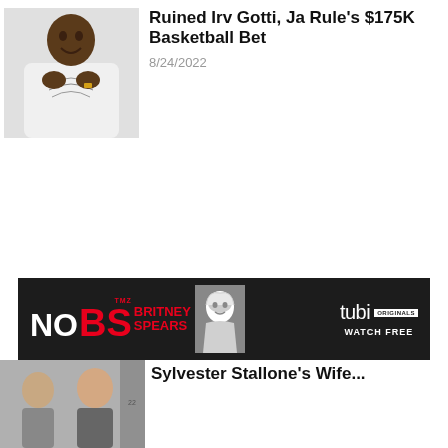[Figure (photo): Photo of a tall Black man in a white graphic t-shirt, clapping his hands together and smiling]
Ruined Irv Gotti, Ja Rule's $175K Basketball Bet
8/24/2022
[Figure (infographic): TMZ No BS Britney Spears advertisement banner with Tubi Originals Watch Free branding]
[Figure (photo): Photo of two men at the bottom of the page]
Sylvester Stallone's Wife...